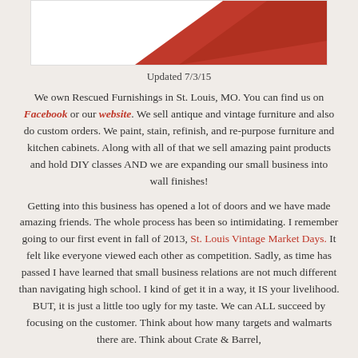[Figure (illustration): Partial view of a red triangular logo shape on white background at top of page]
Updated 7/3/15
We own Rescued Furnishings in St. Louis, MO. You can find us on Facebook or our website. We sell antique and vintage furniture and also do custom orders. We paint, stain, refinish, and re-purpose furniture and kitchen cabinets. Along with all of that we sell amazing paint products and hold DIY classes AND we are expanding our small business into wall finishes!
Getting into this business has opened a lot of doors and we have made amazing friends. The whole process has been so intimidating. I remember going to our first event in fall of 2013, St. Louis Vintage Market Days. It felt like everyone viewed each other as competition. Sadly, as time has passed I have learned that small business relations are not much different than navigating high school. I kind of get it in a way, it IS your livelihood. BUT, it is just a little too ugly for my taste. We can ALL succeed by focusing on the customer. Think about how many targets and walmarts there are. Think about Crate & Barrel,